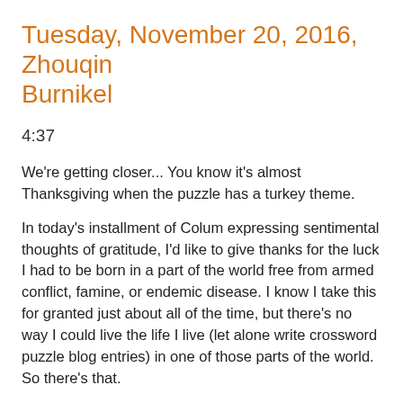Tuesday, November 20, 2016, Zhouqin Burnikel
4:37
We're getting closer... You know it's almost Thanksgiving when the puzzle has a turkey theme.
In today's installment of Colum expressing sentimental thoughts of gratitude, I'd like to give thanks for the luck I had to be born in a part of the world free from armed conflict, famine, or endemic disease. I know I take this for granted just about all of the time, but there's no way I could live the life I live (let alone write crossword puzzle blog entries) in one of those parts of the world. So there's that.
Meanwhile, back in turkey-time, the puzzle today gives four examples of sites that could be defined as "Turkey's place." I love WESTERNASIA here. How well put. And